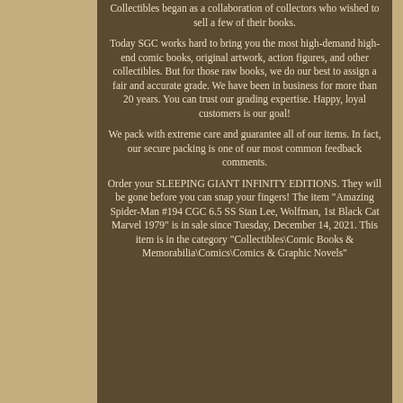Collectibles began as a collaboration of collectors who wished to sell a few of their books.
Today SGC works hard to bring you the most high-demand high-end comic books, original artwork, action figures, and other collectibles. But for those raw books, we do our best to assign a fair and accurate grade. We have been in business for more than 20 years. You can trust our grading expertise. Happy, loyal customers is our goal!
We pack with extreme care and guarantee all of our items. In fact, our secure packing is one of our most common feedback comments.
Order your SLEEPING GIANT INFINITY EDITIONS. They will be gone before you can snap your fingers! The item "Amazing Spider-Man #194 CGC 6.5 SS Stan Lee, Wolfman, 1st Black Cat Marvel 1979" is in sale since Tuesday, December 14, 2021. This item is in the category "Collectibles\Comic Books & Memorabilia\Comics\Comics & Graphic Novels"